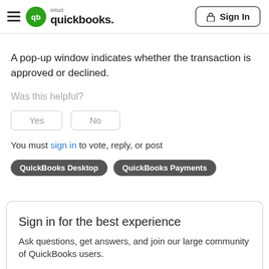intuit quickbooks — Sign In
A pop-up window indicates whether the transaction is approved or declined.
Was this helpful?
Yes   No
You must sign in to vote, reply, or post
QuickBooks Desktop
QuickBooks Payments
Sign in for the best experience
Ask questions, get answers, and join our large community of QuickBooks users.